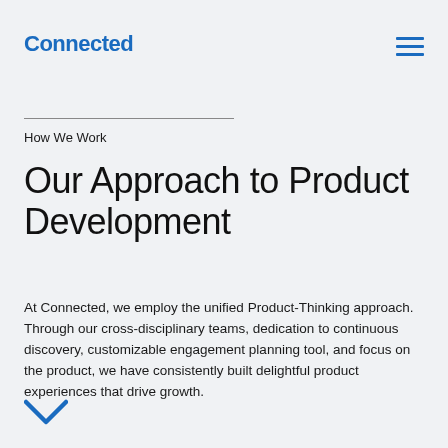Connected
How We Work
Our Approach to Product Development
At Connected, we employ the unified Product-Thinking approach. Through our cross-disciplinary teams, dedication to continuous discovery, customizable engagement planning tool, and focus on the product, we have consistently built delightful product experiences that drive growth.
[Figure (other): Blue chevron/down-arrow icon]